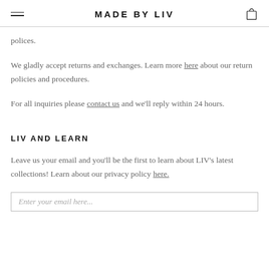MADE BY LIV
polices.
We gladly accept returns and exchanges. Learn more here about our return policies and procedures.
For all inquiries please contact us and we'll reply within 24 hours.
LIV AND LEARN
Leave us your email and you'll be the first to learn about LIV's latest collections! Learn about our privacy policy here.